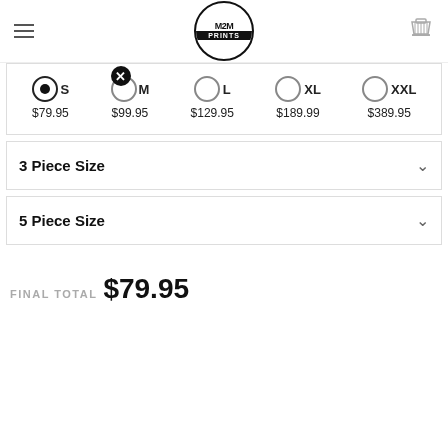M2M PRINTS
[Figure (screenshot): Size selector with radio buttons for S ($79.95), M ($99.95), L ($129.95), XL ($189.99), XXL ($389.95). S is selected (filled radio). An X badge appears on M option.]
3 Piece Size
5 Piece Size
FINAL TOTAL $79.95